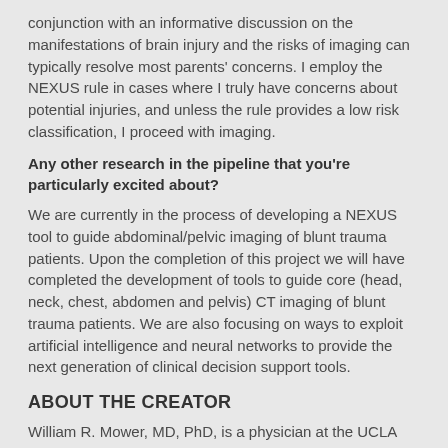conjunction with an informative discussion on the manifestations of brain injury and the risks of imaging can typically resolve most parents' concerns. I employ the NEXUS rule in cases where I truly have concerns about potential injuries, and unless the rule provides a low risk classification, I proceed with imaging.
Any other research in the pipeline that you're particularly excited about?
We are currently in the process of developing a NEXUS tool to guide abdominal/pelvic imaging of blunt trauma patients. Upon the completion of this project we will have completed the development of tools to guide core (head, neck, chest, abdomen and pelvis) CT imaging of blunt trauma patients. We are also focusing on ways to exploit artificial intelligence and neural networks to provide the next generation of clinical decision support tools.
ABOUT THE CREATOR
William R. Mower, MD, PhD, is a physician at the UCLA Emergency Medical Center. He is also a professor of medicine at the University of California Geffen School of Medicine. Dr.